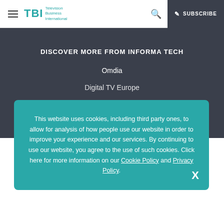TBI Television Business International | SUBSCRIBE
DISCOVER MORE FROM INFORMA TECH
Omdia
Digital TV Europe
This website uses cookies, including third party ones, to allow for analysis of how people use our website in order to improve your experience and our services. By continuing to use our website, you agree to the use of such cookies. Click here for more information on our Cookie Policy and Privacy Policy.